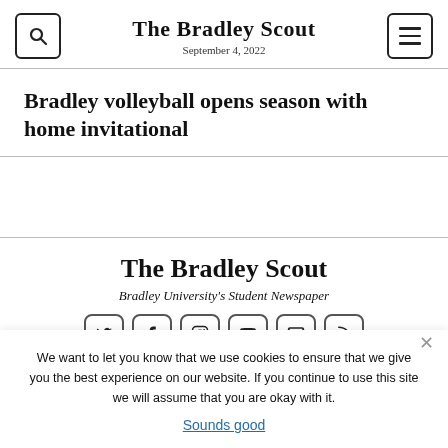The Bradley Scout — September 4, 2022
Bradley volleyball opens season with home invitational
[Figure (illustration): Empty content area below article title, above footer separator line]
The Bradley Scout
Bradley University's Student Newspaper
[Figure (other): Row of six social media icons: Twitter, Facebook, Instagram, YouTube, Email, RSS — each in a rounded square border]
We want to let you know that we use cookies to ensure that we give you the best experience on our website. If you continue to use this site we will assume that you are okay with it.
Sounds good